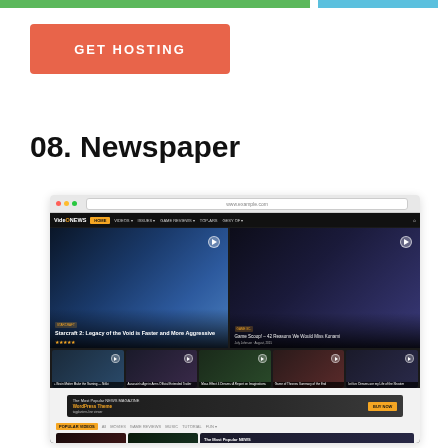[Figure (screenshot): GET HOSTING button — salmon/coral colored rectangle with white text]
08. Newspaper
[Figure (screenshot): Screenshot of the Newspaper WordPress theme — a dark gaming/news website showing the VideoNews logo, navigation bar with yellow HOME button, hero section with Starcraft 2 and Game Scoop articles, thumbnail row of game videos, an ad banner, popular videos section with Arrow and HOLI thumbnails]